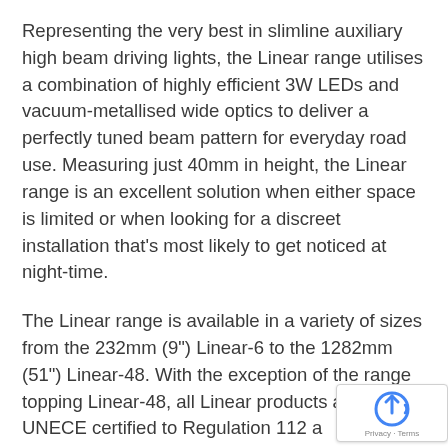Representing the very best in slimline auxiliary high beam driving lights, the Linear range utilises a combination of highly efficient 3W LEDs and vacuum-metallised wide optics to deliver a perfectly tuned beam pattern for everyday road use. Measuring just 40mm in height, the Linear range is an excellent solution when either space is limited or when looking for a discreet installation that’s most likely to get noticed at night-time.
The Linear range is available in a variety of sizes from the 232mm (9") Linear-6 to the 1282mm (51") Linear-48. With the exception of the range topping Linear-48, all Linear products are fully UNECE certified to Regulation 112 and Class B Driving lights (for on-road use). Elite level products are also available across Linear